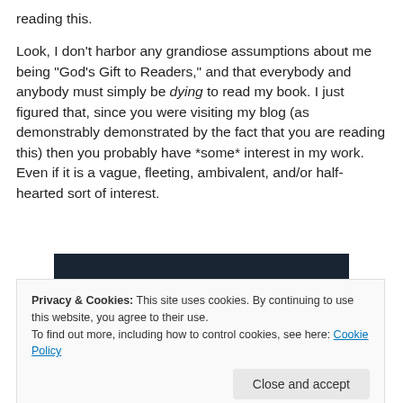reading this.
Look, I don't harbor any grandiose assumptions about me being “God’s Gift to Readers,” and that everybody and anybody must simply be dying to read my book. I just figured that, since you were visiting my blog (as demonstrably demonstrated by the fact that you are reading this) then you probably have *some* interest in my work. Even if it is a vague, fleeting, ambivalent, and/or half-hearted sort of interest.
[Figure (screenshot): Dark navy background with a pink 'Start a survey' button on the left and WordPress logos on the right.]
Privacy & Cookies: This site uses cookies. By continuing to use this website, you agree to their use.
To find out more, including how to control cookies, see here: Cookie Policy
Close and accept